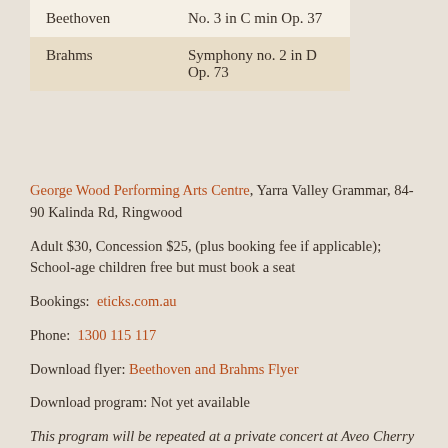| Composer | Work |
| --- | --- |
| Beethoven | No. 3 in C min Op. 37 |
| Brahms | Symphony no. 2 in D Op. 73 |
George Wood Performing Arts Centre, Yarra Valley Grammar, 84-90 Kalinda Rd, Ringwood
Adult $30, Concession $25, (plus booking fee if applicable); School-age children free but must book a seat
Bookings:  eticks.com.au
Phone:  1300 115 117
Download flyer: Beethoven and Brahms Flyer
Download program: Not yet available
This program will be repeated at a private concert at Aveo Cherry Tree Grove, Croydon on Sunday 18th September.